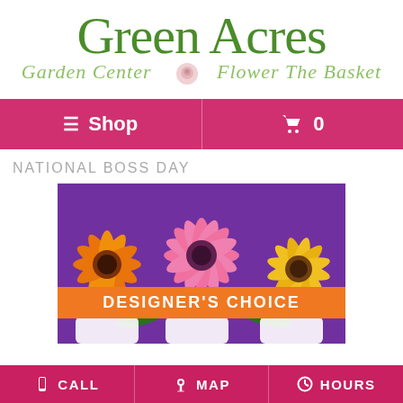[Figure (logo): Green Acres Garden Center & The Flower Basket logo in green script/serif fonts with a rose emblem]
≡ Shop | 🛒 0
NATIONAL BOSS DAY
[Figure (photo): Colorful gerbera daisies (orange, pink, yellow) on a purple background with a 'DESIGNER'S CHOICE' orange banner overlay and white vases at the bottom]
CALL  MAP  HOURS